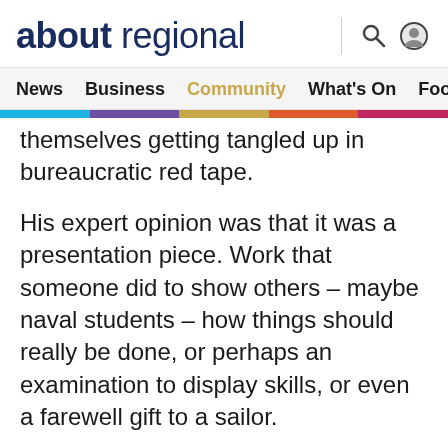about regional
News  Business  Community  What's On  Food & Wi
themselves getting tangled up in bureaucratic red tape.
His expert opinion was that it was a presentation piece. Work that someone did to show others – maybe naval students – how things should really be done, or perhaps an examination to display skills, or even a farewell gift to a sailor.
He was mightily impressed – and not just